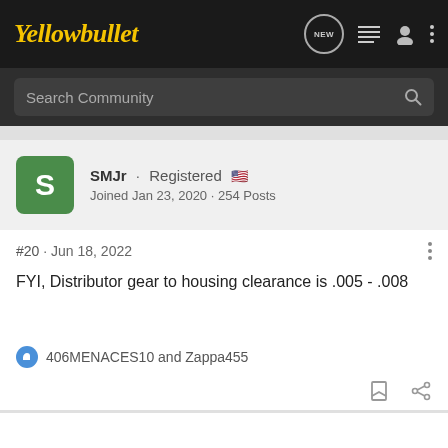Yellowbullet
Search Community
SMJr · Registered
Joined Jan 23, 2020 · 254 Posts
#20 · Jun 18, 2022
FYI, Distributor gear to housing clearance is .005 - .008
406MENACES10 and Zappa455